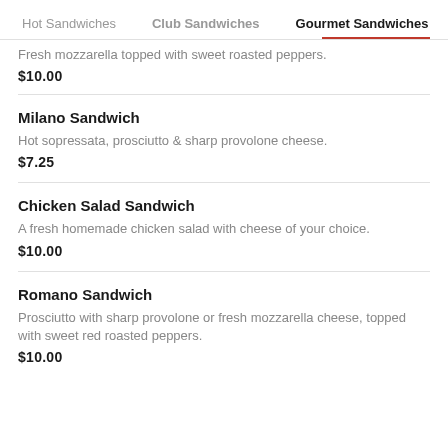Hot Sandwiches | Club Sandwiches | Gourmet Sandwiches
Fresh mozzarella topped with sweet roasted peppers.
$10.00
Milano Sandwich
Hot sopressata, prosciutto & sharp provolone cheese.
$7.25
Chicken Salad Sandwich
A fresh homemade chicken salad with cheese of your choice.
$10.00
Romano Sandwich
Prosciutto with sharp provolone or fresh mozzarella cheese, topped with sweet red roasted peppers.
$10.00